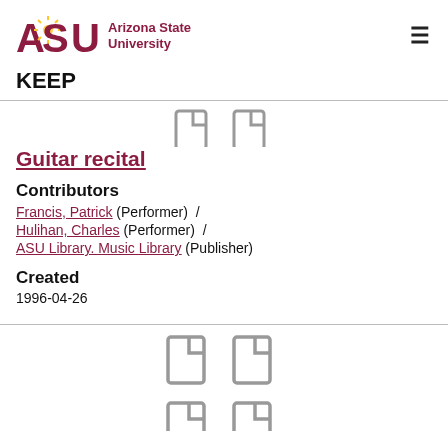[Figure (logo): Arizona State University logo with ASU text in maroon and gold sunburst icon, followed by 'Arizona State University' text]
KEEP
[Figure (other): Two document/file icons side by side (partial, top of page)]
Guitar recital
Contributors
Francis, Patrick (Performer) /
Hulihan, Charles (Performer) /
ASU Library. Music Library (Publisher)
Created
1996-04-26
[Figure (other): Two document/file icons side by side (bottom of page, two rows partially visible)]